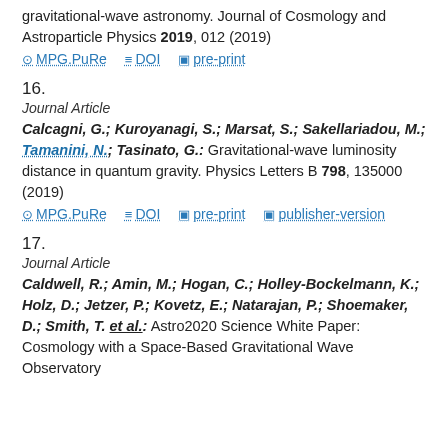gravitational-wave astronomy. Journal of Cosmology and Astroparticle Physics 2019, 012 (2019)
MPG.PuRe | DOI | pre-print
16.
Journal Article
Calcagni, G.; Kuroyanagi, S.; Marsat, S.; Sakellariadou, M.; Tamanini, N.; Tasinato, G.: Gravitational-wave luminosity distance in quantum gravity. Physics Letters B 798, 135000 (2019)
MPG.PuRe | DOI | pre-print | publisher-version
17.
Journal Article
Caldwell, R.; Amin, M.; Hogan, C.; Holley-Bockelmann, K.; Holz, D.; Jetzer, P.; Kovetz, E.; Natarajan, P.; Shoemaker, D.; Smith, T. et al.: Astro2020 Science White Paper: Cosmology with a Space-Based Gravitational Wave Observatory